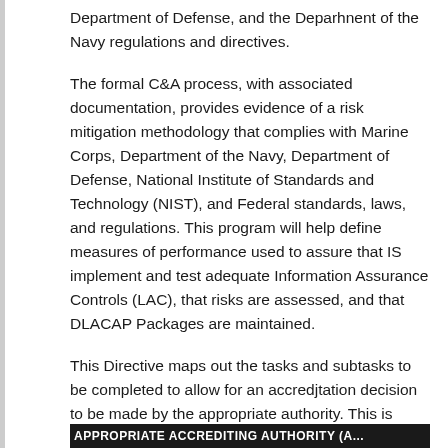Department of Defense, and the Deparhnent of the Navy regulations and directives.
The formal C&A process, with associated documentation, provides evidence of a risk mitigation methodology that complies with Marine Corps, Department of the Navy, Department of Defense, National Institute of Standards and Technology (NIST), and Federal standards, laws, and regulations. This program will help define measures of performance used to assure that IS implement and test adequate Information Assurance Controls (LAC), that risks are assessed, and that DLACAP Packages are maintained.
This Directive maps out the tasks and subtasks to be completed to allow for an accredjtation decision to be made by the appropriate authority. This is known as the C&A process.
...
APPROPRIATE ACCREDITING AUTHORITY (A...